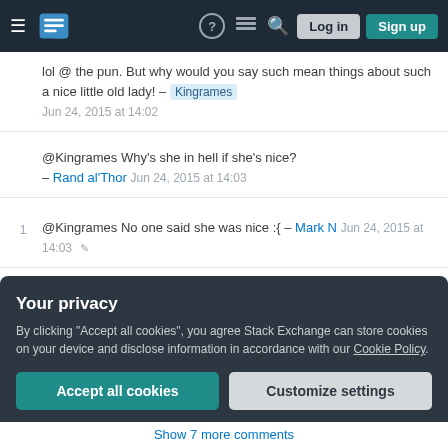Stack Exchange navigation bar with hamburger menu, logo, help, chat, search, Log in, Sign up
lol @ the pun. But why would you say such mean things about such a nice little old lady! – Kingrames Jun 24, 2015 at 14:02
@Kingrames Why's she in hell if she's nice? – Rand al'Thor Jun 24, 2015 at 14:03
1  @Kingrames No one said she was nice :{ – Mark N Jun 24, 2015 at 14:03
1  @randal'thor This is totally a valid answer. It matches the sparse information in the question so long as you accept the description of a female imp as a lady. The pie bit is a bit extra and not relevant. Mark N is simply
Your privacy
By clicking "Accept all cookies", you agree Stack Exchange can store cookies on your device and disclose information in accordance with our Cookie Policy.
Accept all cookies  Customize settings
Show 7 more comments